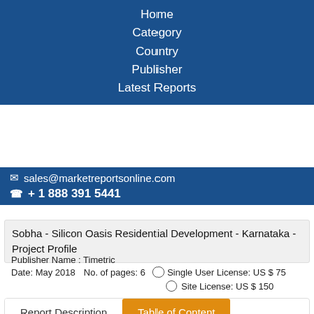Home
Category
Country
Publisher
Latest Reports
✉ sales@marketreportsonline.com
☎ + 1 888 391 5441
Sobha - Silicon Oasis Residential Development - Karnataka - Project Profile
Publisher Name : Timetric
Date: May 2018   No. of pages: 6   Single User License: US $ 75
Site License: US $ 150
Buy Now
Report Description   Table of Content